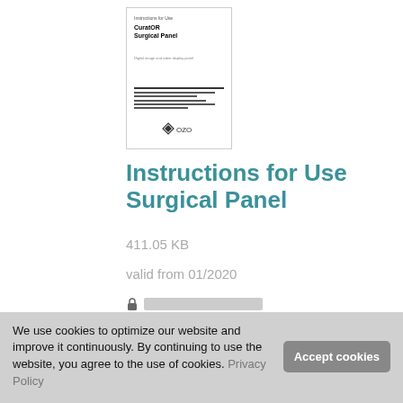[Figure (illustration): Thumbnail of a document cover page showing 'Instructions for Use CuratOR Surgical Panel' with OZO logo at the bottom]
Instructions for Use Surgical Panel
411.05 KB
valid from 01/2020
[lock icon] [redacted login text]
[download button with lock icon and redacted text]
We use cookies to optimize our website and improve it continuously. By continuing to use the website, you agree to the use of cookies. Privacy Policy